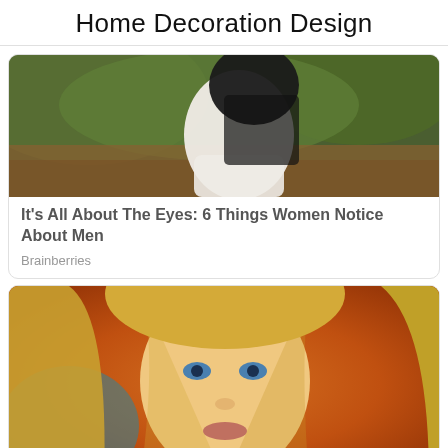Home Decoration Design
[Figure (photo): Photo of a woman from behind in a white top, surrounded by green foliage and orange/brown ground]
It's All About The Eyes: 6 Things Women Notice About Men
Brainberries
[Figure (photo): Portrait photo of a blonde woman with blue eyes against an orange background]
Actors Who Tore Down Entire Career On